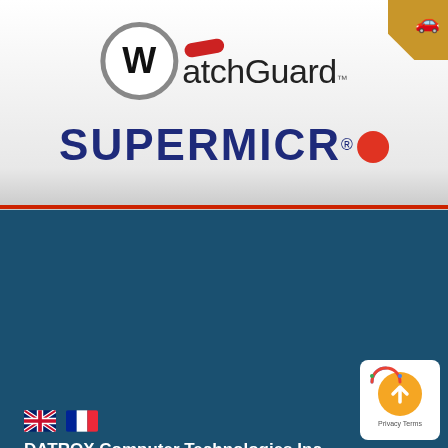[Figure (logo): WatchGuard logo with circle W and red pill accent, trademark symbol]
[Figure (logo): Supermicro logo in dark blue bold uppercase letters with registered trademark and red dot]
DATROX Computer Technologies Inc.
5985 Chemin St-Francois
St-Laurent, Quebec, Canada
H4S 1B6
Tel: (514) 335-3050
Fax: (514) 335-3051
info@datrox.com
[Figure (other): UK and French flag icons for language selection]
[Figure (other): Privacy Terms badge with Google-style icon and orange circle with up arrow]